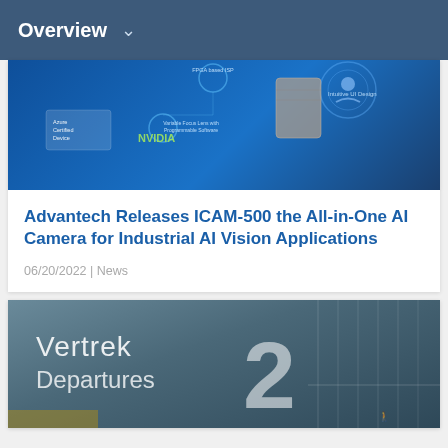Overview
[Figure (photo): Advantech ICAM-500 AI camera product banner with Azure Certified Device, NVIDIA logos, FPGA based ISP, Variable Focus Lens with Programmable Software, Intuitive UI Design labels on a blue background]
Advantech Releases ICAM-500 the All-in-One AI Camera for Industrial AI Vision Applications
06/20/2022 | News
[Figure (photo): Airport departures sign showing Vertrek / Departures text with a large number 2, glass facade building in background]